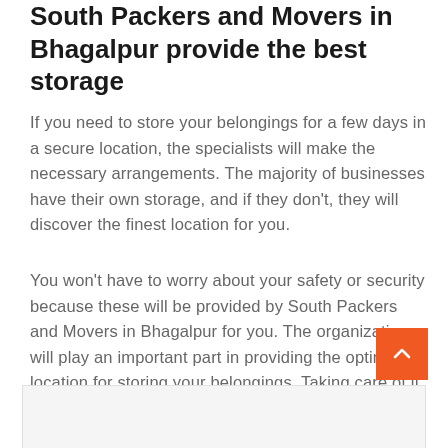South Packers and Movers in Bhagalpur provide the best storage
If you need to store your belongings for a few days in a secure location, the specialists will make the necessary arrangements. The majority of businesses have their own storage, and if they don't, they will discover the finest location for you.
You won't have to worry about your safety or security because these will be provided by South Packers and Movers in Bhagalpur for you. The organization will play an important part in providing the optimum location for storing your belongings. Taking care of it on your own will be difficult and time-consuming.